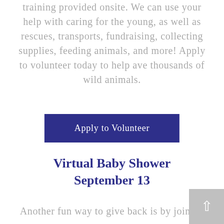training provided onsite. We can use your help with caring for the young, as well as rescues, transports, fundraising, collecting supplies, feeding animals, and more! Apply to volunteer today to help ave thousands of wild animals.
Apply to Volunteer
Virtual Baby Shower September 13
Another fun way to give back is by joining